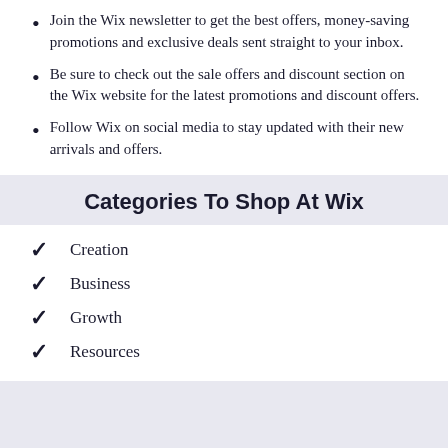Join the Wix newsletter to get the best offers, money-saving promotions and exclusive deals sent straight to your inbox.
Be sure to check out the sale offers and discount section on the Wix website for the latest promotions and discount offers.
Follow Wix on social media to stay updated with their new arrivals and offers.
Categories To Shop At Wix
Creation
Business
Growth
Resources